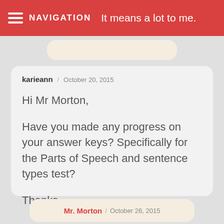NAVIGATION / It means a lot to me.
karieann / October 20, 2015

Hi Mr Morton,

Have you made any progress on your answer keys? Specifically for the Parts of Speech and sentence types test?

Thanks
Mr. Morton / October 26, 2015